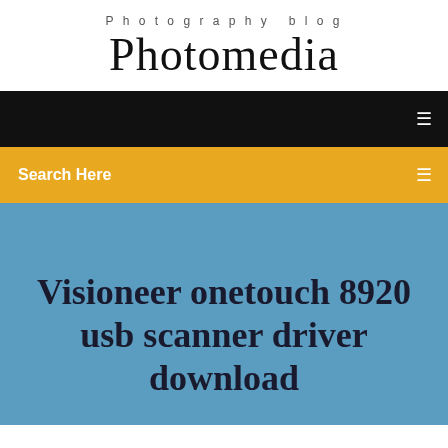Photography blog
Photomedia
[Figure (screenshot): Black navigation bar with hamburger menu icon on the right]
Search Here
Visioneer onetouch 8920 usb scanner driver download